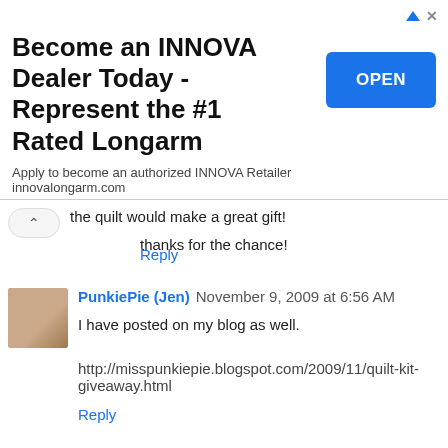[Figure (screenshot): Advertisement banner: 'Become an INNOVA Dealer Today - Represent the #1 Rated Longarm' with OPEN button and small ad icons]
the quilt would make a great gift!
thanks for the chance!
Reply
PunkiePie (Jen) November 9, 2009 at 6:56 AM
I have posted on my blog as well.
http://misspunkiepie.blogspot.com/2009/11/quilt-kit-giveaway.html
Reply
Gnomemade November 9, 2009 at 9:16 AM
I love your patterns - especially the Life of a Snowman,